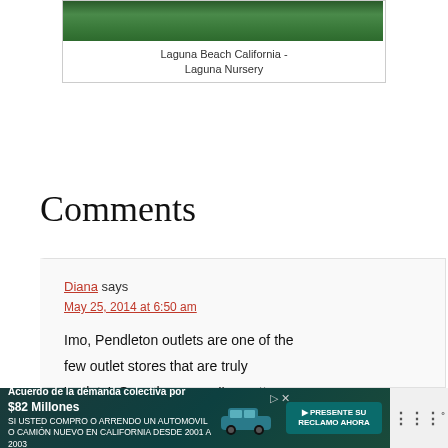[Figure (photo): Photo of trees/nursery at Laguna Beach California]
Laguna Beach California - Laguna Nursery
Comments
Diana says
May 25, 2014 at 6:50 am

Imo, Pendleton outlets are one of the few outlet stores that are truly 'outlets'. Over the years, I've gotten
[Figure (other): Advertisement banner: Acuerdo de la demanda colectiva por $82 Millones - SI USTED COMPRO O ARRENDO UN AUTOMOVIL O CAMION NUEVO EN CALIFORNIA DESDE 2001 A 2003 - PRESENTE SU RECLAMO AHORA]